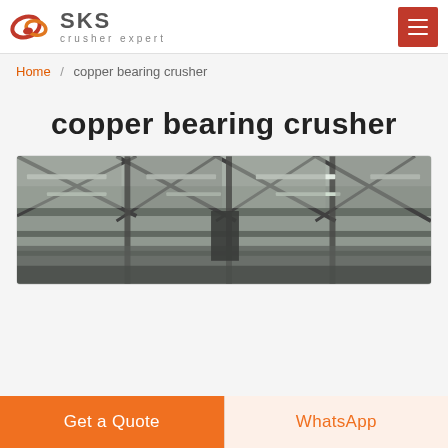SKS crusher expert
Home / copper bearing crusher
copper bearing crusher
[Figure (photo): Interior of an industrial factory/warehouse with steel roof structure and fluorescent lighting]
Get a Quote
WhatsApp